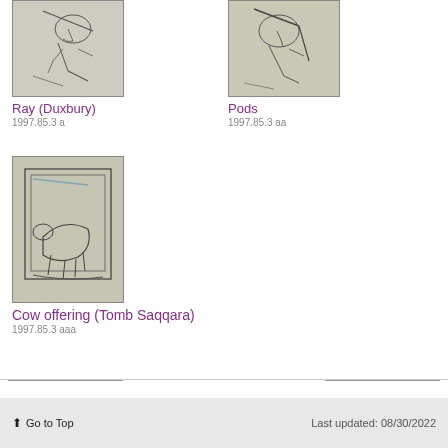[Figure (photo): Pencil sketch artwork thumbnail for Ray (Duxbury)]
Ray (Duxbury)
1997.85.3 a
[Figure (photo): Pencil sketch artwork thumbnail for Pods]
Pods
1997.85.3 aa
[Figure (photo): Pencil sketch artwork thumbnail for Cow offering (Tomb Saqqara)]
Cow offering (Tomb Saqqara)
1997.85.3 aaa
Go to Top   Last updated: 08/30/2022